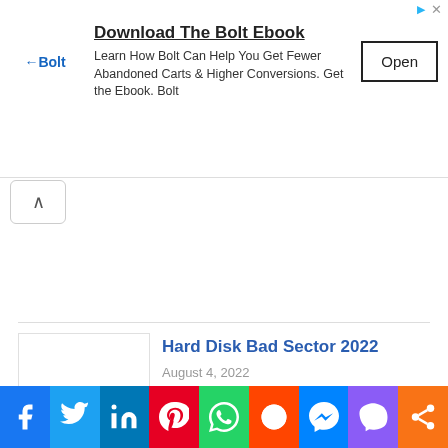[Figure (screenshot): Advertisement banner for Bolt ebook. Title: 'Download The Bolt Ebook'. Logo: Bolt with arrow icon. Body text: 'Learn How Bolt Can Help You Get Fewer Abandoned Carts & Higher Conversions. Get the Ebook. Bolt'. Button: 'Open'.]
[Figure (screenshot): Collapse/chevron-up button (^) in a rounded white box]
Hard Disk Bad Sector 2022
August 4, 2022
Spread the love Before how to hard disk bad sector re...
[Figure (screenshot): Social sharing bar with Facebook, Twitter, LinkedIn, Pinterest, WhatsApp, Reddit, Messenger, Viber, Share buttons]